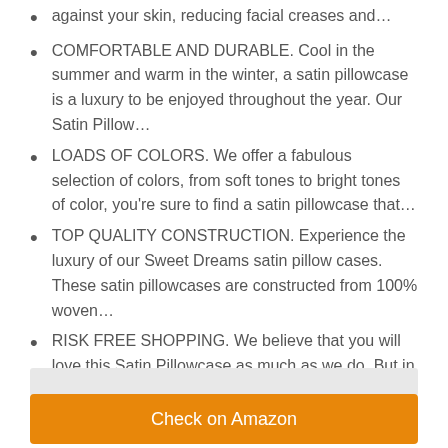against your skin, reducing facial creases and…
COMFORTABLE AND DURABLE. Cool in the summer and warm in the winter, a satin pillowcase is a luxury to be enjoyed throughout the year. Our Satin Pillow…
LOADS OF COLORS. We offer a fabulous selection of colors, from soft tones to bright tones of color, you're sure to find a satin pillowcase that…
TOP QUALITY CONSTRUCTION. Experience the luxury of our Sweet Dreams satin pillow cases. These satin pillowcases are constructed from 100% woven…
RISK FREE SHOPPING. We believe that you will love this Satin Pillowcase as much as we do. But in case you don't, we offer a 100% money back guarantee….
[Figure (other): Gray horizontal bar placeholder]
Check on Amazon